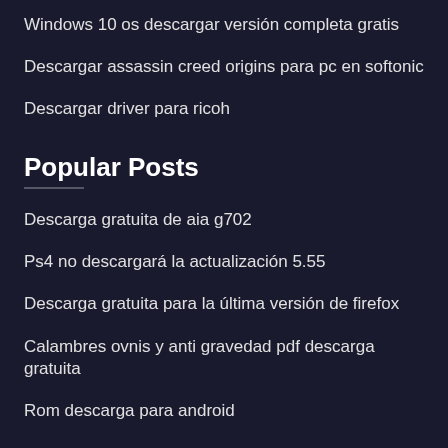Windows 10 os descargar versión completa gratis
Descargar assassin creed origins para pc en softonic
Descargar driver para ricoh
Popular Posts
Descarga gratuita de aia g702
Ps4 no descargará la actualización 5.55
Descarga gratuita para la última versión de firefox
Calambres ovnis y anti gravedad pdf descarga gratuita
Rom descarga para android
New
Descarga (pdf) aviso 1
Etc. de descargar pdf de manera gratuita